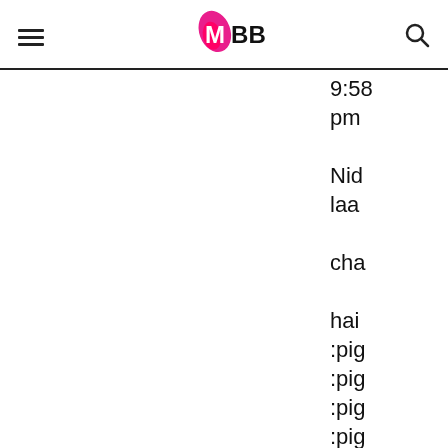IMBB (logo with hamburger menu and search icon)
9:58 pm Nida laa cha hai :pig :pig :pig :pig :pig :jalv :jalv :jalv :jalv peh wol